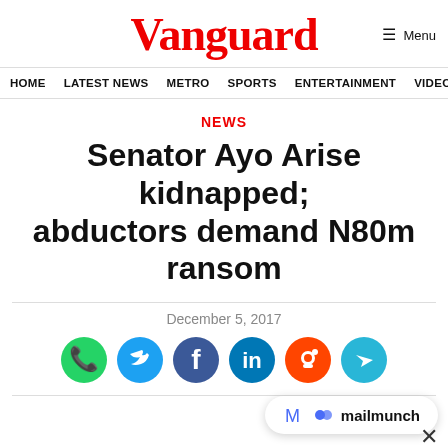Vanguard
HOME  LATEST NEWS  METRO  SPORTS  ENTERTAINMENT  VIDEOS
NEWS
Senator Ayo Arise kidnapped; abductors demand N80m ransom
December 5, 2017